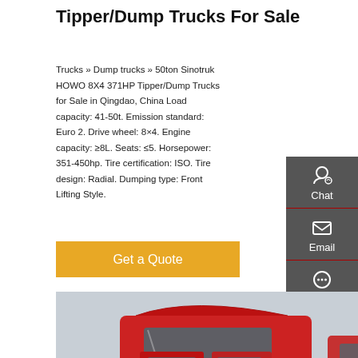Tipper/Dump Trucks For Sale
Trucks » Dump trucks » 50ton Sinotruk HOWO 8X4 371HP Tipper/Dump Trucks for Sale in Qingdao, China Load capacity: 41-50t. Emission standard: Euro 2. Drive wheel: 8×4. Engine capacity: ≥8L. Seats: ≤5. Horsepower: 351-450hp. Tire certification: ISO. Tire design: Radial. Dumping type: Front Lifting Style.
[Figure (other): Get a Quote button (orange/golden background with white text)]
[Figure (photo): Red Sinotruk HOWO dump trucks parked in a row, viewed from the front-side angle. Multiple red cab-over trucks visible.]